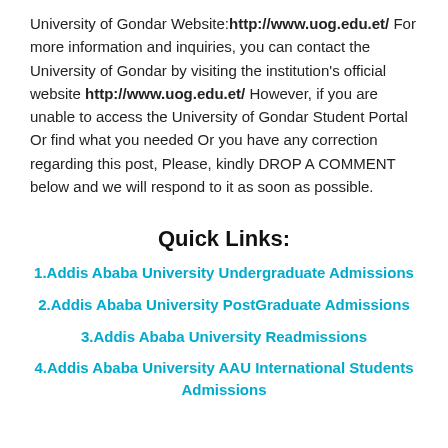University of Gondar Website: http://www.uog.edu.et/ For more information and inquiries, you can contact the University of Gondar by visiting the institution's official website http://www.uog.edu.et/ However, if you are unable to access the University of Gondar Student Portal Or find what you needed Or you have any correction regarding this post, Please, kindly DROP A COMMENT below and we will respond to it as soon as possible.
Quick Links:
1.Addis Ababa University Undergraduate Admissions
2.Addis Ababa University PostGraduate Admissions
3.Addis Ababa University Readmissions
4.Addis Ababa University AAU International Students Admissions